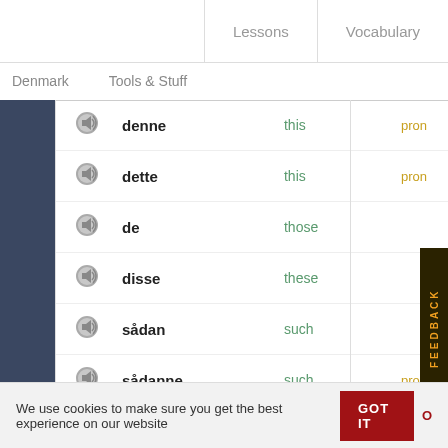Lessons   Vocabulary
Denmark   Tools & Stuff
|  | Danish | English | Type |
| --- | --- | --- | --- |
| [speaker] | denne | this | pron |
| [speaker] | dette | this | pron |
| [speaker] | de | those |  |
| [speaker] | disse | these |  |
| [speaker] | sådan | such |  |
| [speaker] | sådanne | such | pron |
| [speaker] | begge | both | pron |
FEEDBACK
We use cookies to make sure you get the best experience on our website   GOT IT   O...